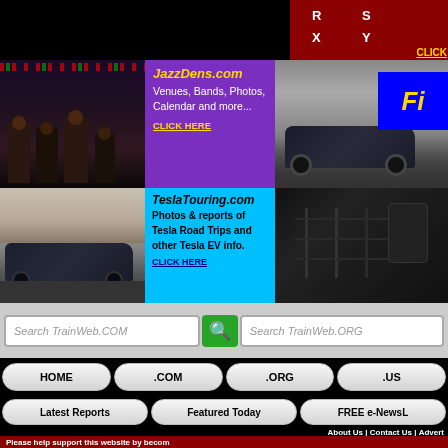[Figure (screenshot): Dark top banner with red section showing R, X and S, Y labels with CLICK link]
[Figure (photo): Jazz band photo - musicians playing instruments]
[Figure (infographic): JazzDens.com advertisement - purple background, Venues, Bands, Photos, Calendar and more... CLICK HERE]
[Figure (photo): Car photo with blue box overlay showing Fi text]
[Figure (photo): Tesla car on road with desert landscape]
[Figure (infographic): TeslaTouring.com advertisement - cyan background, Photos & reports of Tesla Road Trips and other Tesla EV info. CLICK HERE]
[Figure (photo): Dark industrial/machinery photo]
Search TrainWeb.COM
Search TrainWeb.ORG
HOME
.COM
.ORG
.US
Latest Reports
Featured Today
FREE e-NewsL
About Us | Contact Us | Advert
2,301,731 View Stats  | Page updated: 07/23/2
Please help support this website by becom